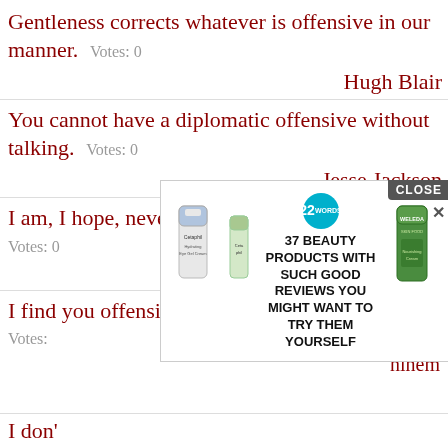Gentleness corrects whatever is offensive in our manner.   Votes: 0
Hugh Blair
You cannot have a diplomatic offensive without talking.   Votes: 0
Jesse Jackson
I am, I hope, never offensive by accident.   Votes: 0
Christopher Hitchens
I find you offensive for finding me offensive
Votes:
...inem
I don'
[Figure (screenshot): Advertisement overlay showing Cetaphil and Weleda products with text '37 BEAUTY PRODUCTS WITH SUCH GOOD REVIEWS YOU MIGHT WANT TO TRY THEM YOURSELF' and a CLOSE button]